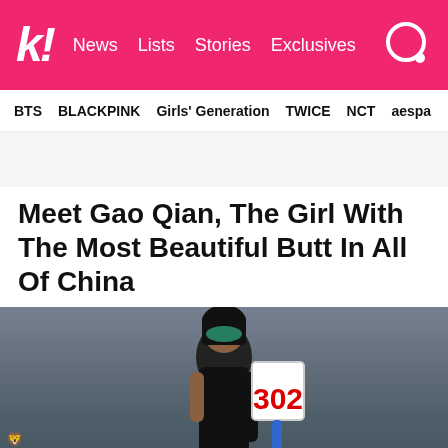k! News Lists Stories Exclusives
BTS   BLACKPINK   Girls' Generation   TWICE   NCT   aespa
Meet Gao Qian, The Girl With The Most Beautiful Butt In All Of China
[Figure (photo): Woman in black outfit and masquerade mask holding paddle number 302, standing in front of a sign reading Lion's Modern Te...]